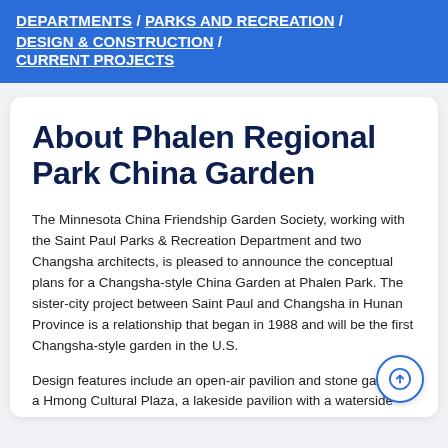DEPARTMENTS / PARKS AND RECREATION / DESIGN & CONSTRUCTION / CURRENT PROJECTS
About Phalen Regional Park China Garden
The Minnesota China Friendship Garden Society, working with the Saint Paul Parks & Recreation Department and two Changsha architects, is pleased to announce the conceptual plans for a Changsha-style China Garden at Phalen Park. The sister-city project between Saint Paul and Changsha in Hunan Province is a relationship that began in 1988 and will be the first Changsha-style garden in the U.S.
Design features include an open-air pavilion and stone garden, a Hmong Cultural Plaza, a lakeside pavilion with a waterside patio and veranda, an entrance arch, and an arched bridge. The main pavilion will be in a Changsha-style architecture and modeled after the famous Aiwan pavilion in Changsha. A stone garden lead from this pavilion to the water channel and use Minnesota